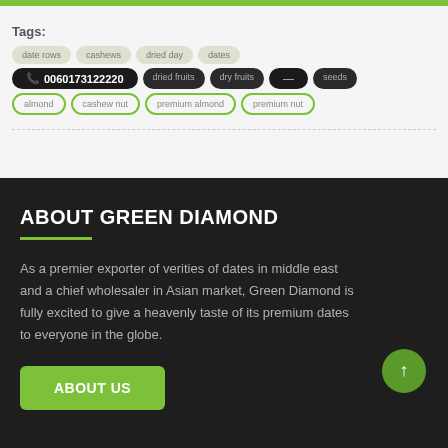Tags: date rows, cashews, dried day, dates, delicious 0060173122220, dried fruits, dry fruits, seeds, almond, cashew nut, premium almond, premium nut
ABOUT GREEN DIAMOND
As a premier exporter of verities of dates in middle east and a chief wholesaler in Asian market, Green Diamond is fully excited to give a heavenly taste of its premium dates to everyone in the globe.
ABOUT US